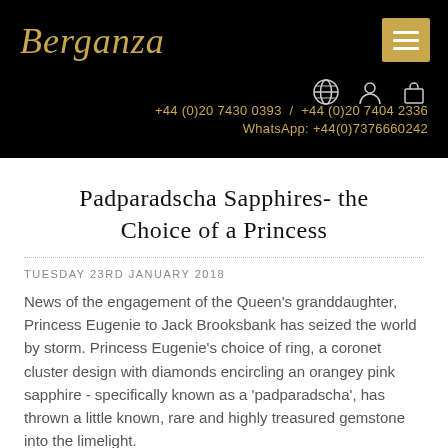Berganza
+44 (0)20 7430 0393 / +44 (0)20 7404 2336
WhatsApp: +44(0)7376660242
Padparadscha Sapphires- the Choice of a Princess
TUESDAY 23RD JANUARY 2018
News of the engagement of the Queen's granddaughter, Princess Eugenie to Jack Brooksbank has seized the world by storm. Princess Eugenie's choice of ring, a coronet cluster design with diamonds encircling an orangey pink sapphire - specifically known as a 'padparadscha', has thrown a little known, rare and highly treasured gemstone into the limelight.